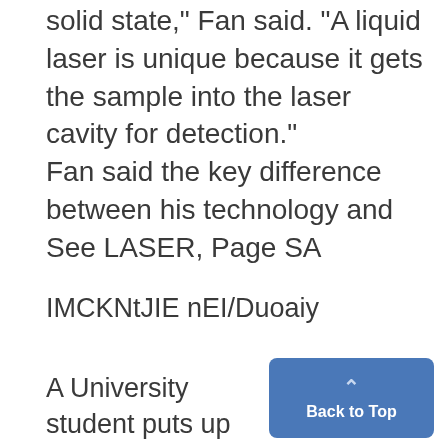solid state," Fan said. "A liquid laser is unique because it gets the sample into the laser cavity for detection."
Fan said the key difference between his technology and
See LASER, Page SA
IMCKNtJIE nEI/Duoaiy
A University student puts up posters advertising for tutoring services on campus yesterday.